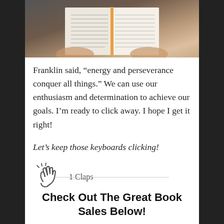[Figure (photo): Person holding an open book with orange spine, photographed from above]
Franklin said, “energy and perseverance conquer all things.” We can use our enthusiasm and determination to achieve our goals. I’m ready to click away. I hope I get it right!
Let’s keep those keyboards clicking!
[Figure (illustration): Clapping hands icon with 1 Claps text]
Check Out The Great Book Sales Below!